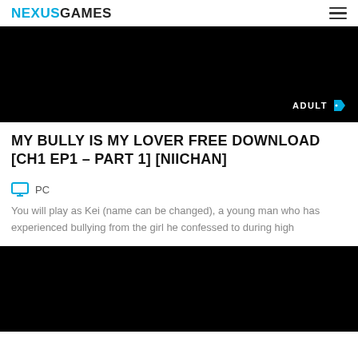NEXUSGAMES
[Figure (photo): Black hero image with ADULT tag badge in bottom right corner]
MY BULLY IS MY LOVER FREE DOWNLOAD [CH1 EP1 – PART 1] [NIICHAN]
PC
You will play as Kei (name can be changed), a young man who has experienced bullying from the girl he confessed to during high
[Figure (photo): Black image at the bottom of the page]